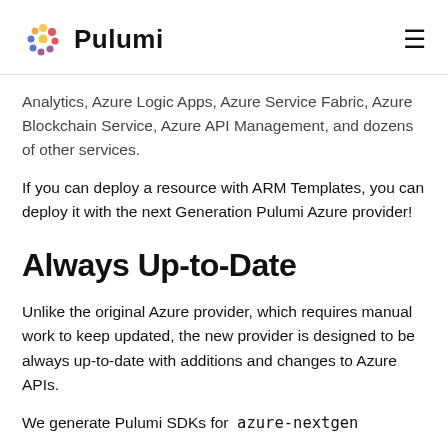Pulumi
Analytics, Azure Logic Apps, Azure Service Fabric, Azure Blockchain Service, Azure API Management, and dozens of other services.
If you can deploy a resource with ARM Templates, you can deploy it with the next Generation Pulumi Azure provider!
Always Up-to-Date
Unlike the original Azure provider, which requires manual work to keep updated, the new provider is designed to be always up-to-date with additions and changes to Azure APIs.
We generate Pulumi SDKs for azure-nextgen